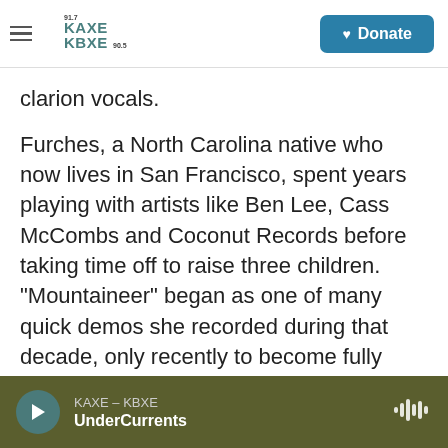KAXE 91.7 KBXE 90.5 — Donate
clarion vocals.
Furches, a North Carolina native who now lives in San Francisco, spent years playing with artists like Ben Lee, Cass McCombs and Coconut Records before taking time off to raise three children. "Mountaineer" began as one of many quick demos she recorded during that decade, only recently to become fully realized songs: "I started collecting those pieces and building them up into songs," she says, "and it slowly led me back to a huge part of myself I thought was lost."
KAXE – KBXE UnderCurrents